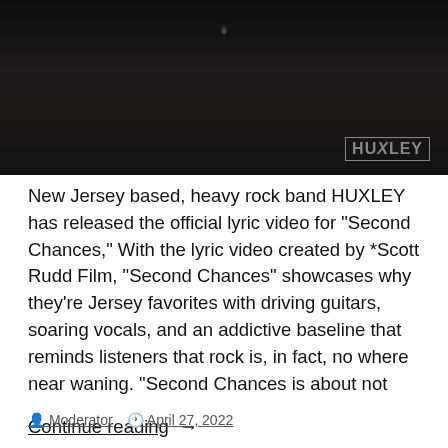[Figure (photo): Dark background image with HUXLEY logo in lower right corner, decorative element near top center]
New Jersey based, heavy rock band HUXLEY has released the official lyric video for “Second Chances,” With the lyric video created by *Scott Rudd Film, “Second Chances” showcases why they’re Jersey favorites with driving guitars, soaring vocals, and an addictive baseline that reminds listeners that rock is, in fact, no where near waning. “Second Chances is about not
Continue reading →
Moderator   April 27, 2022